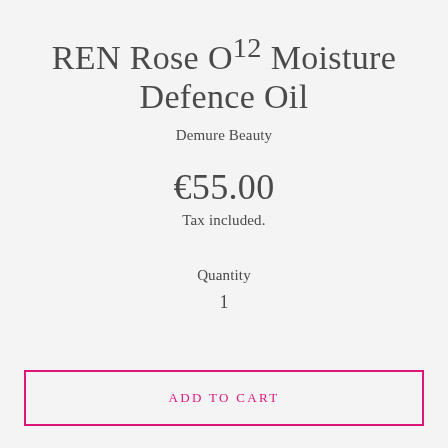REN Rose O¹² Moisture Defence Oil
Demure Beauty
€55.00
Tax included.
Quantity
1
ADD TO CART